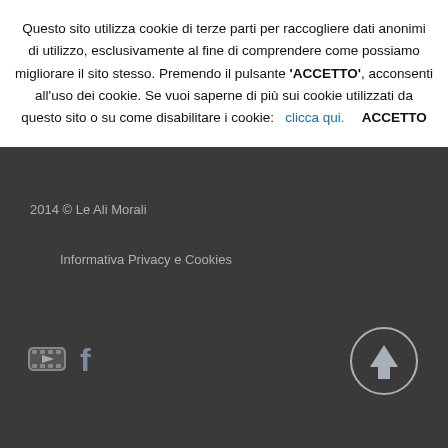Questo sito utilizza cookie di terze parti per raccogliere dati anonimi di utilizzo, esclusivamente al fine di comprendere come possiamo migliorare il sito stesso. Premendo il pulsante 'ACCETTO', acconsenti all'uso dei cookie. Se vuoi saperne di più sui cookie utilizzati da questo sito o su come disabilitare i cookie:  clicca qui.  ACCETTO
2014 © Le Ali Morali
Informativa Privacy e Cookies